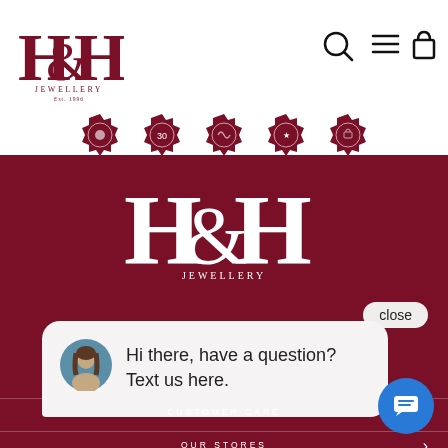[Figure (logo): H&H Jewellery logo, dark red serif text, Est. 1996]
[Figure (other): Navigation icons: search, hamburger menu, shopping bag]
[Figure (other): Five circular trust badge / seal icons in dark red]
[Figure (logo): Large H&H Jewellery logo in white on dark red background]
close
Hi there, have a question? Text us here.
CUSTOMER CARE
OUR STORES